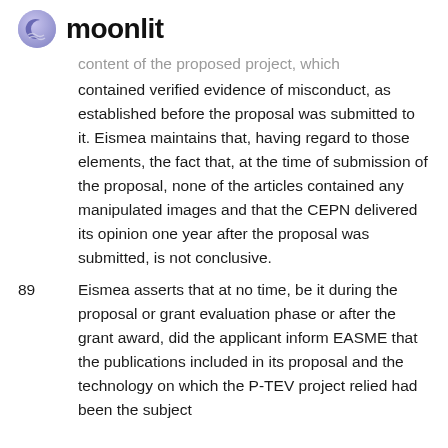moonlit
content of the proposed project, which contained verified evidence of misconduct, as established before the proposal was submitted to it. Eismea maintains that, having regard to those elements, the fact that, at the time of submission of the proposal, none of the articles contained any manipulated images and that the CEPN delivered its opinion one year after the proposal was submitted, is not conclusive.
89 Eismea asserts that at no time, be it during the proposal or grant evaluation phase or after the grant award, did the applicant inform EASME that the publications included in its proposal and the technology on which the P-TEV project relied had been the subject